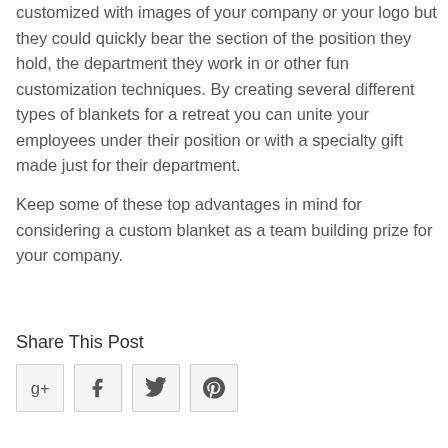customized with images of your company or your logo but they could quickly bear the section of the position they hold, the department they work in or other fun customization techniques. By creating several different types of blankets for a retreat you can unite your employees under their position or with a specialty gift made just for their department.
Keep some of these top advantages in mind for considering a custom blanket as a team building prize for your company.
Share This Post
[Figure (other): Social sharing buttons: Google+, Facebook, Twitter, Pinterest]